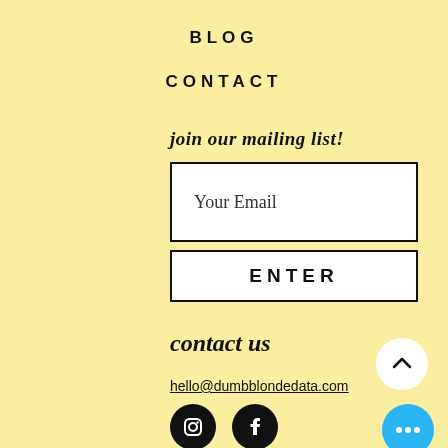BLOG
CONTACT
join our mailing list!
Your Email
ENTER
contact us
hello@dumbblondedata.com